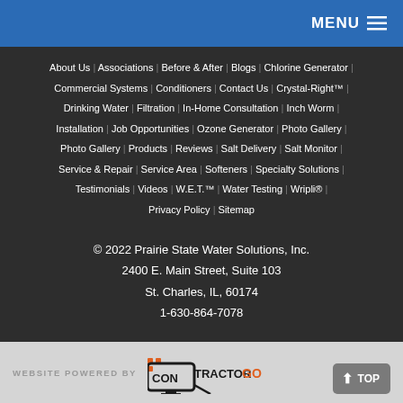MENU ☰
About Us | Associations | Before & After | Blogs | Chlorine Generator | Commercial Systems | Conditioners | Contact Us | Crystal-Right™ | Drinking Water | Filtration | In-Home Consultation | Inch Worm | Installation | Job Opportunities | Ozone Generator | Photo Gallery | Photo Gallery | Products | Reviews | Salt Delivery | Salt Monitor | Service & Repair | Service Area | Softeners | Specialty Solutions | Testimonials | Videos | W.E.T.™ | Water Testing | Wripli® | Privacy Policy | Sitemap
© 2022 Prairie State Water Solutions, Inc.
2400 E. Main Street, Suite 103
St. Charles, IL, 60174
1-630-864-7078
WEBSITE POWERED BY CONTRACTOR GO | TOP